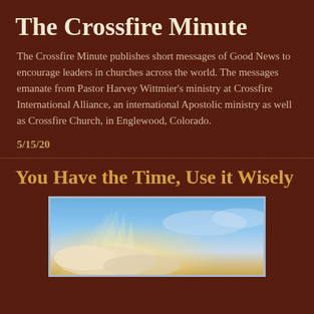The Crossfire Minute
The Crossfire Minute publishes short messages of Good News to encourage leaders in churches across the world. The messages emanate from Pastor Harvey Wittmier's ministry at Crossfire International Alliance, an international Apostolic ministry as well as Crossfire Church, in Englewood, Colorado.
5/15/20
You Have the Time, Use it Wisely
[Figure (photo): Sky photo showing blue sky with sunlight breaking through clouds, warm golden tones near the horizon]